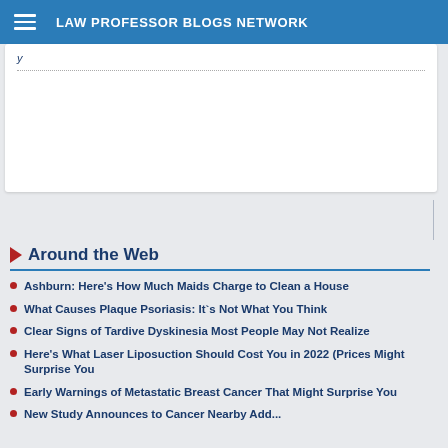LAW PROFESSOR BLOGS NETWORK
y
Around the Web
Ashburn: Here's How Much Maids Charge to Clean a House
What Causes Plaque Psoriasis: It`s Not What You Think
Clear Signs of Tardive Dyskinesia Most People May Not Realize
Here's What Laser Liposuction Should Cost You in 2022 (Prices Might Surprise You
Early Warnings of Metastatic Breast Cancer That Might Surprise You
New Study Announces to Cancer Nearby Address